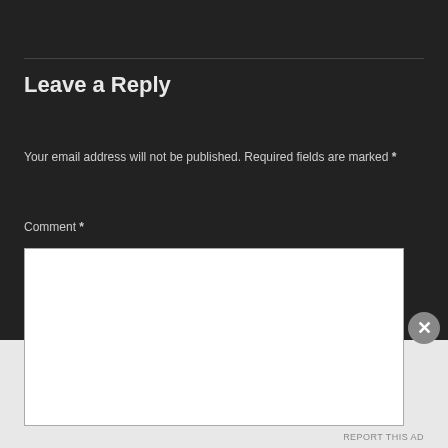Leave a Reply
Your email address will not be published. Required fields are marked *
Comment *
[Figure (screenshot): White comment text input textarea box]
REPORT THIS AD